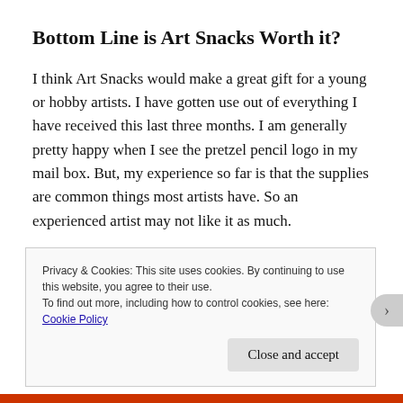Bottom Line is Art Snacks Worth it?
I think Art Snacks would make a great gift for a young or hobby artists. I have gotten use out of everything I have received this last three months. I am generally pretty happy when I see the pretzel pencil logo in my mail box. But, my experience so far is that the supplies are common things most artists have. So an experienced artist may not like it as much.
Privacy & Cookies: This site uses cookies. By continuing to use this website, you agree to their use.
To find out more, including how to control cookies, see here: Cookie Policy
Close and accept